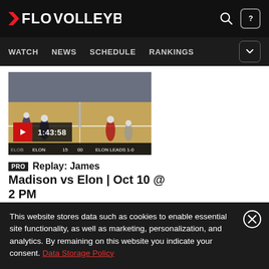FLOVOLLEYBALL
WATCH  NEWS  SCHEDULE  RANKINGS
[Figure (screenshot): Volleyball game replay video thumbnail showing players on court, with red play button and duration 1:43:58]
PRO  Replay: James Madison vs Elon | Oct 10 @ 2 PM
Oct 10, 2021
This website stores data such as cookies to enable essential site functionality, as well as marketing, personalization, and analytics. By remaining on this website you indicate your consent. Data Storage Policy